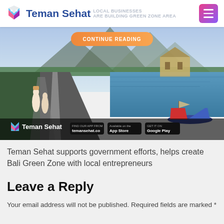Teman Sehat — LOCAL BUSINESSES ARE BUILDING GREEN ZONE AREA
[Figure (screenshot): Hero image showing Bali landscape with traditional Balinese women carrying baskets on their heads on a rural road, and a lake with a temple and mountains in the background, with a colorful boat in the foreground. Overlaid with 'CONTINUE READING' button and Teman Sehat branding with app store badges.]
Teman Sehat supports government efforts, helps create Bali Green Zone with local entrepreneurs
Leave a Reply
Your email address will not be published. Required fields are marked *